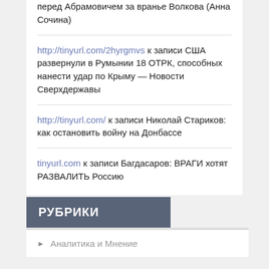перед Абрамовичем за вранье Волкова (Анна Сочина)
http://tinyurl.com/2hyrgmvs к записи США развернули в Румынии 18 ОТРК, способных нанести удар по Крыму — Новости Сверхдержавы
http://tinyurl.com/ к записи Николай Стариков: как остановить войну на Донбассе
tinyurl.com к записи Багдасаров: ВРАГИ хотят РАЗВАЛИТЬ Россию
РУБРИКИ
Аналитика и Мнение